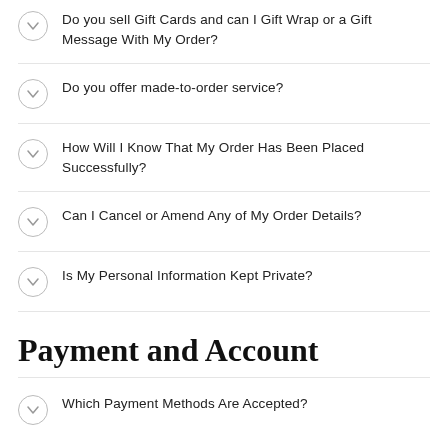Do you sell Gift Cards and can I Gift Wrap or a Gift Message With My Order?
Do you offer made-to-order service?
How Will I Know That My Order Has Been Placed Successfully?
Can I Cancel or Amend Any of My Order Details?
Is My Personal Information Kept Private?
Payment and Account
Which Payment Methods Are Accepted?